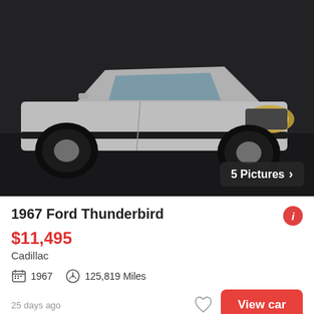[Figure (photo): White Ford Thunderbird car photographed at night/dusk in a parking lot, headlights on, viewed from front-left angle]
1967 Ford Thunderbird
$11,495
Cadillac
1967   125,819 Miles
25 days ago
View car
[Figure (photo): Salmon/pink colored classic car photographed from front, on grass, partial view showing hood and windshield]